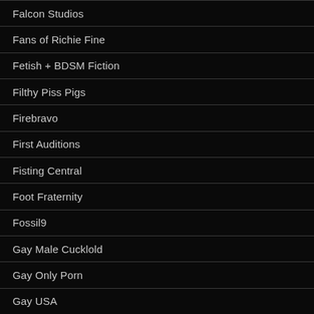Falcon Studios
Fans of Richie Fine
Fetish + BDSM Fiction
Filthy Piss Pigs
Firebravo
First Auditions
Fisting Central
Foot Fraternity
Fossil9
Gay Male Cucklold
Gay Only Porn
Gay USA